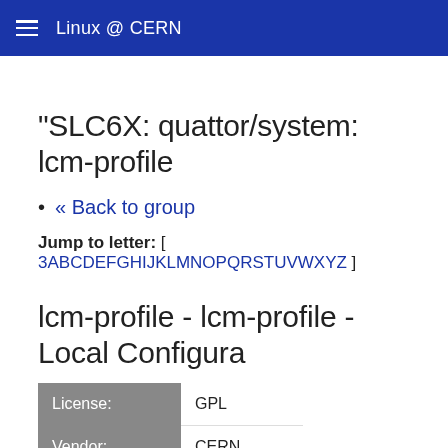Linux @ CERN
"SLC6X: quattor/system: lcm-profile
« Back to group
Jump to letter: [ 3ABCDEFGHIJKLMNOPQRSTUVWXYZ ]
lcm-profile - lcm-profile - Local Configura
|  |  |
| --- | --- |
| License: | GPL |
| Vendor: | CERN |